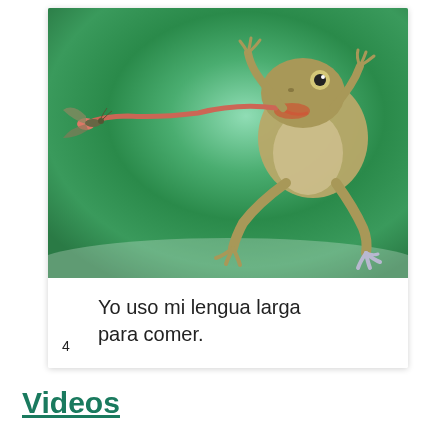[Figure (photo): A frog mid-jump catching an insect with its long pink tongue extended, against a green blurred background. The frog is light brown/green colored with legs splayed out. A small winged insect is caught on the tip of the tongue on the left side.]
Yo uso mi lengua larga para comer.
4
Videos